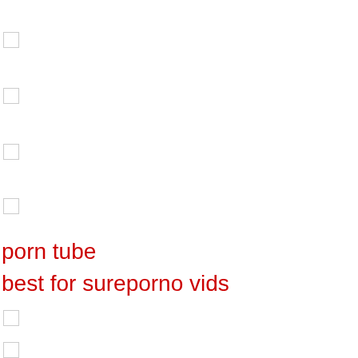porn tube
best for sureporno vids